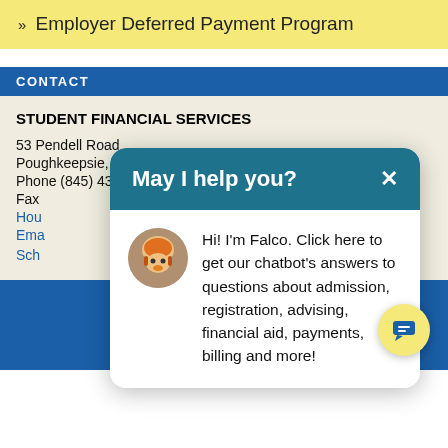» Employer Deferred Payment Program
CONTACT
STUDENT FINANCIAL SERVICES
53 Pendell Road
Poughkeepsie, NY 12601
Phone (845) 431-8060
Fax
Hou
Ema
Sch
[Figure (screenshot): Chatbot popup with header 'May I help you?' and Falco mascot avatar, with text: Hi! I'm Falco. Click here to get our chatbot's answers to questions about admission, registration, advising, financial aid, payments, billing and more!]
[Figure (other): Yellow circular chat FAB button with chat icon in blue footer area]